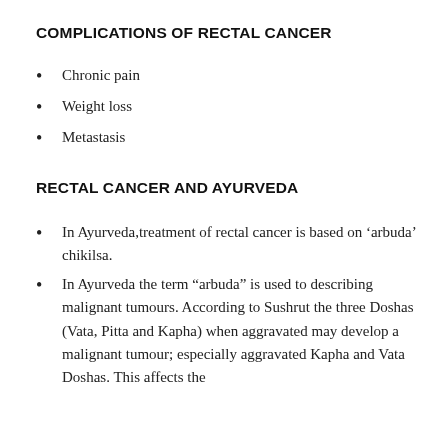COMPLICATIONS OF RECTAL CANCER
Chronic pain
Weight loss
Metastasis
RECTAL CANCER AND AYURVEDA
In Ayurveda,treatment of rectal cancer is based on ‘arbuda’ chikilsa.
In Ayurveda the term “arbuda” is used to describing malignant tumours. According to Sushrut the three Doshas (Vata, Pitta and Kapha) when aggravated may develop a malignant tumour; especially aggravated Kapha and Vata Doshas. This affects the